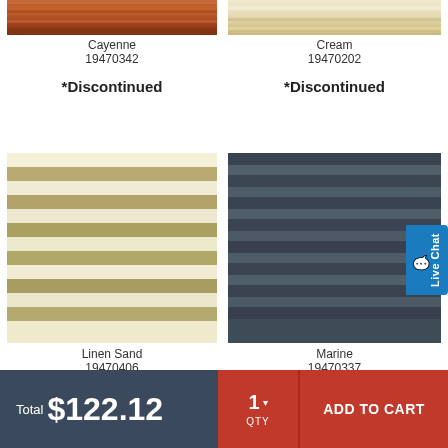[Figure (photo): Cayenne colored blind swatch - brownish-red horizontal stripe]
Cayenne
19470342
*Discontinued
[Figure (photo): Cream colored blind swatch - light beige horizontal stripe]
Cream
19470202
*Discontinued
[Figure (photo): Linen Sand colored blind swatch - alternating tan/cream horizontal stripes]
Linen Sand
19470406
*Discontinued
[Figure (photo): Marine colored blind swatch - dark navy/charcoal horizontal stripes]
Marine
19470337
*Discontinued
Total $122.12
1 QTY
ADD TO CART